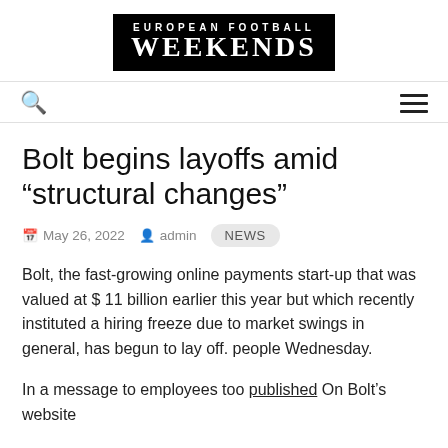EUROPEAN FOOTBALL WEEKENDS
Bolt begins layoffs amid “structural changes”
May 26, 2022  admin  NEWS
Bolt, the fast-growing online payments start-up that was valued at $ 11 billion earlier this year but which recently instituted a hiring freeze due to market swings in general, has begun to lay off. people Wednesday.
In a message to employees too published On Bolt’s website